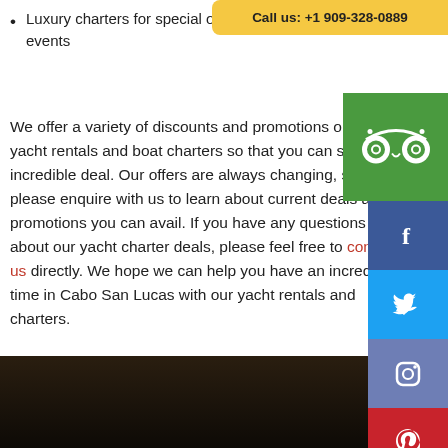Luxury charters for special occasions and events
[Figure (infographic): Yellow call-to-action banner with text: Call us: +1 909-328-0889]
[Figure (logo): TripAdvisor green logo box with owl icon]
We offer a variety of discounts and promotions on our yacht rentals and boat charters so that you can snag an incredible deal. Our offers are always changing, so please enquire with us to learn about current deals and promotions you can avail. If you have any questions about our yacht charter deals, please feel free to contact us directly. We hope we can help you have an incredible time in Cabo San Lucas with our yacht rentals and charters.
[Figure (infographic): Social media sidebar with Facebook (dark blue), Twitter (blue), Instagram (slate blue), and Pinterest (red) icons]
[Figure (photo): Dark nighttime photo strip at the bottom of the page]